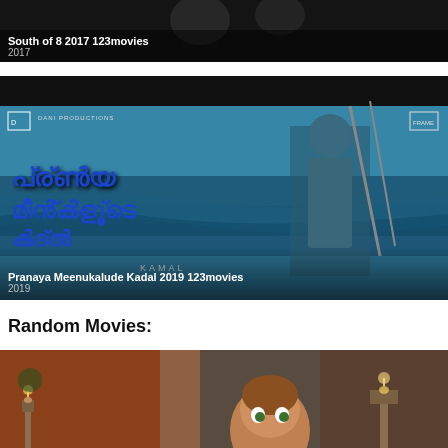[Figure (screenshot): Partial movie card at top showing '2017' film, dark background with text overlay]
[Figure (screenshot): Movie card for 'Pranaya Meenukalude Kadal 2019 123movies' showing Malayalam film poster with fisherman and Malayalam script title]
Random Movies:
[Figure (screenshot): Movie card for 'Pil's Adventures 2021 123movies' showing animated film with cartoon boy character in fantasy setting]